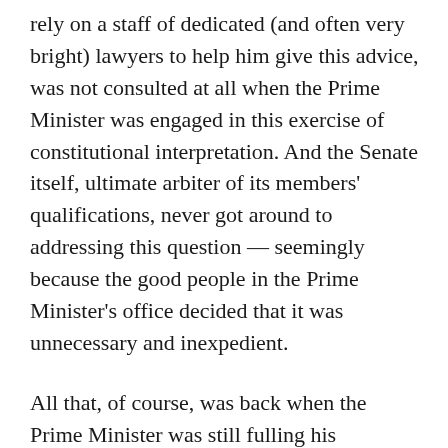rely on a staff of dedicated (and often very bright) lawyers to help him give this advice, was not consulted at all when the Prime Minister was engaged in this exercise of constitutional interpretation. And the Senate itself, ultimate arbiter of its members' qualifications, never got around to addressing this question — seemingly because the good people in the Prime Minister's office decided that it was unnecessary and inexpedient.

All that, of course, was back when the Prime Minister was still fulling his constitutional responsibility to have Senators appointed at all. He no longer is. Whether he has come up with some specious constitutional